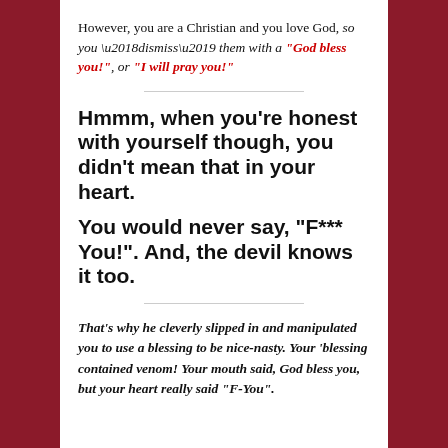However, you are a Christian and you love God, so you ‘dismiss’ them with a “God bless you!”, or “I will pray you!”
Hmmm, when you’re honest with yourself though, you didn’t mean that in your heart.
You would never say, “F*** You!”. And, the devil knows it too.
That’s why he cleverly slipped in and manipulated you to use a blessing to be nice-nasty. Your ‘blessing contained venom! Your mouth said, God bless you, but your heart really said “F-You”.